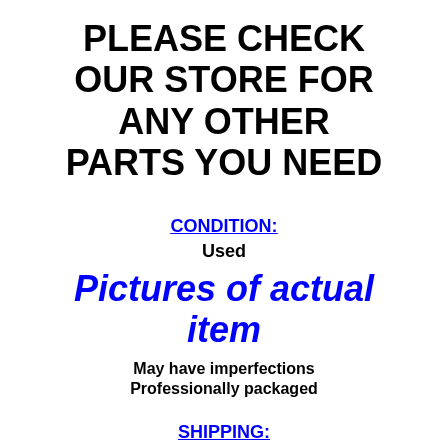PLEASE CHECK OUR STORE FOR ANY OTHER PARTS YOU NEED
CONDITION:
Used
Pictures of actual item
May have imperfections
Professionally packaged
SHIPPING: